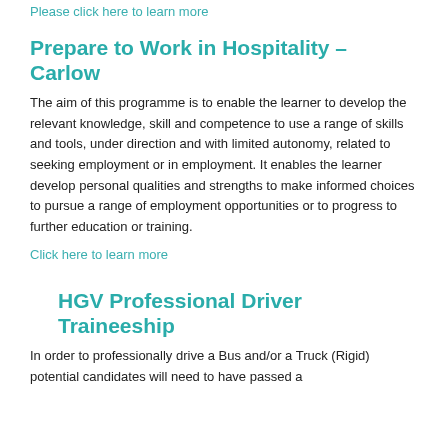Please click here to learn more
Prepare to Work in Hospitality – Carlow
The aim of this programme is to enable the learner to develop the relevant knowledge, skill and competence to use a range of skills and tools, under direction and with limited autonomy, related to seeking employment or in employment. It enables the learner develop personal qualities and strengths to make informed choices to pursue a range of employment opportunities or to progress to further education or training.
Click here to learn more
HGV Professional Driver Traineeship
In order to professionally drive a Bus and/or a Truck (Rigid) potential candidates will need to have passed a